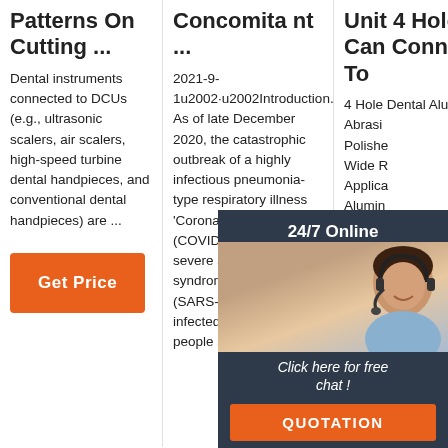Patterns On Cutting ...
Dental instruments connected to DCUs (e.g., ultrasonic scalers, air scalers, high-speed turbine dental handpieces, and conventional dental handpieces) are ...
Get Price
Concomitant ...
2021-9-1u2002·u2002Introduction. As of late December 2020, the catastrophic outbreak of a highly infectious pneumonia-type respiratory illness 'Coronavirus Disease (COVID-19)' caused by severe acute respiratory syndrome coronavirus 2 (SARS-CoV-2) has infected 79.2 million people and
Unit 4 Hole Can Connect To
4 Hole Dental Alumina Abrasive Polisher,Wide Range Application, Alumina abrasive had been used as the most valuable dental effective,powerful effect and widely application methods.It can provides precise surface micro-
[Figure (infographic): Customer service overlay with '24/7 Online' header, photo of a woman with a headset, 'Click here for free chat!' text, and an orange QUOTATION button. A TOP badge with orange dots appears in the bottom right.]